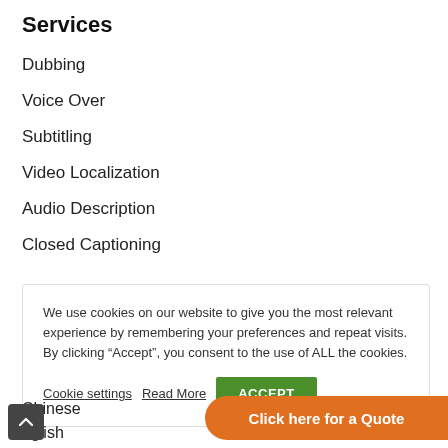Services
Dubbing
Voice Over
Subtitling
Video Localization
Audio Description
Closed Captioning
We use cookies on our website to give you the most relevant experience by remembering your preferences and repeat visits. By clicking “Accept”, you consent to the use of ALL the cookies.
Cookie settings  Read More  ACCEPT
Chinese
nglish
Click here for a Quote